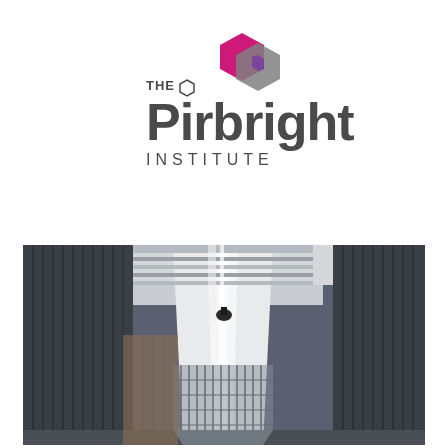[Figure (logo): The Pirbright Institute logo with two interlocking hexagons (one magenta/pink, one grey) and the text 'THE Pirbright INSTITUTE']
[Figure (photo): Interior corridor photograph of The Pirbright Institute building showing a hallway with metal louvered panels, glass walls, and fluorescent ceiling lights creating a perspective view]